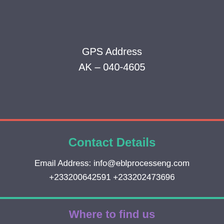GPS Address
AK - 040-4605
Contact Details
Email Address: info@eblprocesseng.com
+233200642591 +233202473696
Where to find us